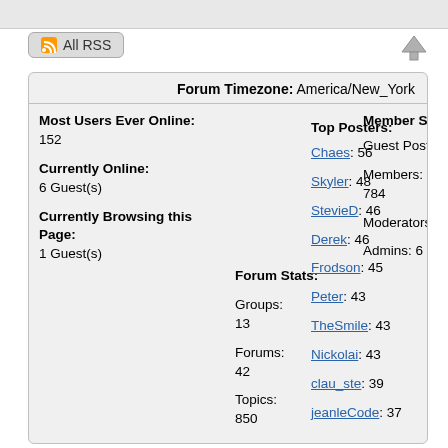All RSS
| Currently Online & Browsing | Forum Stats | Member Stats | Top Posters |
| --- | --- | --- | --- |
| Most Users Ever Online: 152 | Forum Stats: | Member Stats: | Top Posters: |
| Currently Online: 6 Guest(s) | Groups: 13 | Guest Posters: 2 | Chaes: 56 |
| Currently Browsing this Page: 1 Guest(s) | Forums: 42 | Members: 784 | Skyler: 48 |
|  | Topics: 850 | Moderators: 1 | StevieD: 46 |
|  | Posts: 3372 | Admins: 6 | Derek: 46 |
|  |  |  | Frodson: 45 |
|  |  |  | Peter: 43 |
|  |  |  | TheSmile: 43 |
|  |  |  | Nickolai: 43 |
|  |  |  | clau_ste: 39 |
|  |  |  | jeanleCode: 37 |